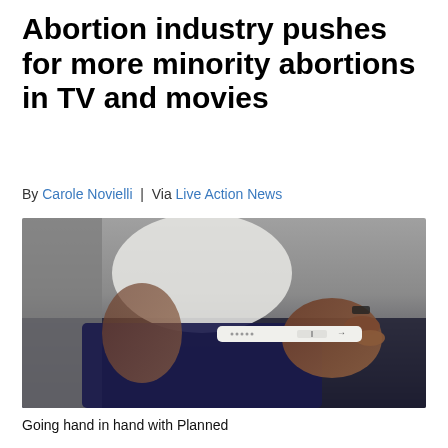Abortion industry pushes for more minority abortions in TV and movies
By Carole Novielli | Via Live Action News
[Figure (photo): A dark-skinned woman holding a white pregnancy test stick against her body, wearing a white shirt and dark skirt. The image is close-cropped showing hands and torso.]
Going hand in hand with Planned